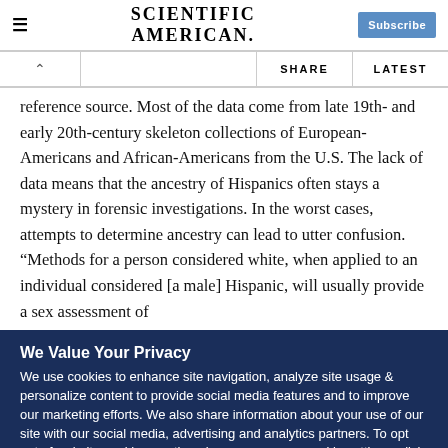SCIENTIFIC AMERICAN
reference source. Most of the data come from late 19th- and early 20th-century skeleton collections of European-Americans and African-Americans from the U.S. The lack of data means that the ancestry of Hispanics often stays a mystery in forensic investigations. In the worst cases, attempts to determine ancestry can lead to utter confusion. “Methods for a person considered white, when applied to an individual considered [a male] Hispanic, will usually provide a sex assessment of
We Value Your Privacy
We use cookies to enhance site navigation, analyze site usage & personalize content to provide social media features and to improve our marketing efforts. We also share information about your use of our site with our social media, advertising and analytics partners. To opt out of website cookies or otherwise manage your cookie settings, click on Cookie Settings. View O